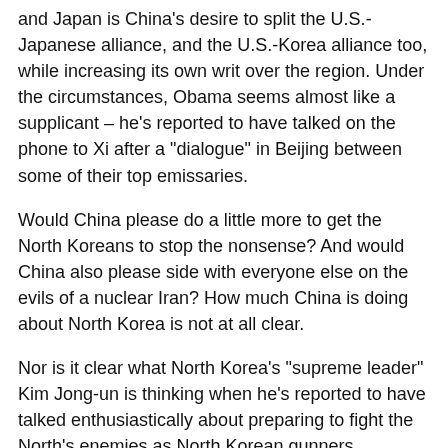and Japan is China's desire to split the U.S.-Japanese alliance, and the U.S.-Korea alliance too, while increasing its own writ over the region. Under the circumstances, Obama seems almost like a supplicant – he's reported to have talked on the phone to Xi after a "dialogue" in Beijing between some of their top emissaries.
Would China please do a little more to get the North Koreans to stop the nonsense? And would China also please side with everyone else on the evils of a nuclear Iran? How much China is doing about North Korea is not at all clear.
Nor is it clear what North Korea's "supreme leader" Kim Jong-un is thinking when he's reported to have talked enthusiastically about preparing to fight the North's enemies as North Korean gunners demonstrate their prowess by firing scores of artillery rounds. Is he simply defying China, the U.S. and everyone else or is North Korea serious about countering those who would "stifle" its ambitions?